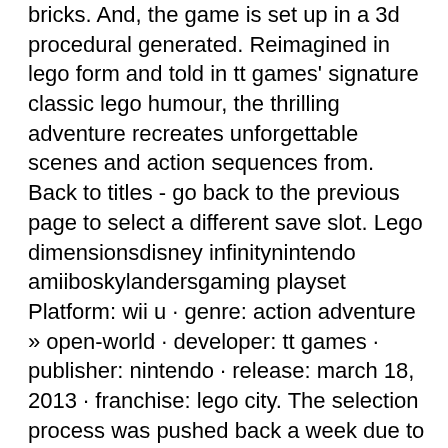bricks. And, the game is set up in a 3d procedural generated. Reimagined in lego form and told in tt games' signature classic lego humour, the thrilling adventure recreates unforgettable scenes and action sequences from. Back to titles - go back to the previous page to select a different save slot. Lego dimensionsdisney infinitynintendo amiiboskylandersgaming playset Platform: wii u · genre: action adventure » open-world · developer: tt games · publisher: nintendo · release: march 18, 2013 · franchise: lego city. The selection process was pushed back a week due to the state. Meanwhile, those who purchase lego worlds via steam early access for £11. 99 prior to launch will be able to upgrade to the full game for. 1 lego videogame franchise and immerses fans in the new star wars adventure like